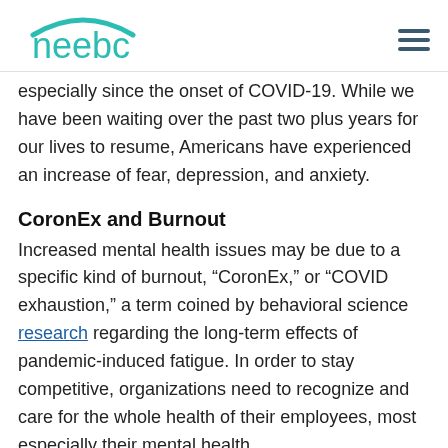neebc
especially since the onset of COVID-19. While we have been waiting over the past two plus years for our lives to resume, Americans have experienced an increase of fear, depression, and anxiety.
CoronEx and Burnout
Increased mental health issues may be due to a specific kind of burnout, “CoronEx,” or “COVID exhaustion,” a term coined by behavioral science research regarding the long-term effects of pandemic-induced fatigue. In order to stay competitive, organizations need to recognize and care for the whole health of their employees, most especially their mental health.